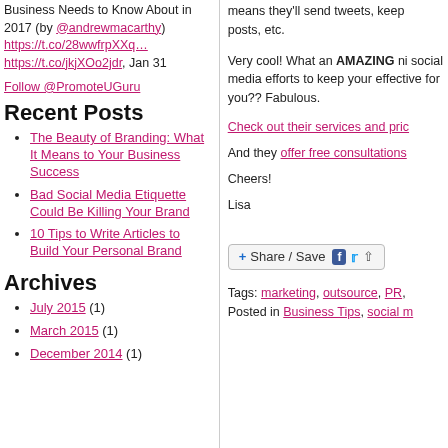Business Needs to Know About in 2017 (by @andrewmacarthy) https://t.co/28wwfrpXXq… https://t.co/jkjXOo2jdr, Jan 31
Follow @PromoteUGuru
Recent Posts
The Beauty of Branding: What It Means to Your Business Success
Bad Social Media Etiquette Could Be Killing Your Brand
10 Tips to Write Articles to Build Your Personal Brand
Archives
July 2015 (1)
March 2015 (1)
December 2014 (1)
means they'll send tweets, keep posts, etc.
Very cool! What an AMAZING ni social media efforts to keep your effective for you?? Fabulous.
Check out their services and pric
And they offer free consultations
Cheers!
Lisa
[Figure (other): Share / Save button with Facebook, Twitter, and share icons]
Tags: marketing, outsource, PR, Posted in Business Tips, social m